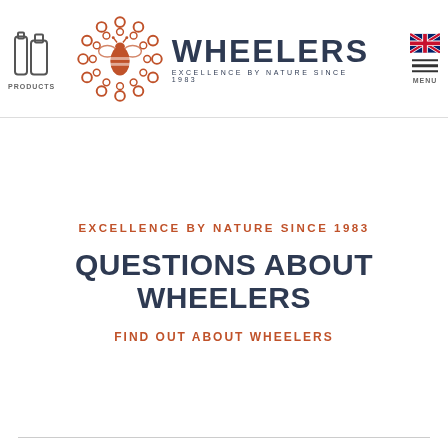PRODUCTS | WHEELERS EXCELLENCE BY NATURE SINCE 1983 | EN | MENU
[Figure (logo): Wheelers logo with bee emblem in orange and grey text reading WHEELERS EXCELLENCE BY NATURE SINCE 1983]
EXCELLENCE BY NATURE SINCE 1983
QUESTIONS ABOUT WHEELERS
FIND OUT ABOUT WHEELERS